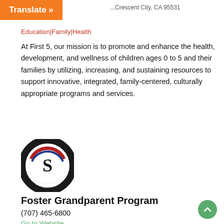Translate »
...Crescent City, CA 95531
Education|Family|Health
At First 5, our mission is to promote and enhance the health, development, and wellness of children ages 0 to 5 and their families by utilizing, increasing, and sustaining resources to support innovative, integrated, family-centered, culturally appropriate programs and services.
[Figure (logo): Senior Corps Foster Grandparent Program circular seal logo with a large S in the center surrounded by text and a patriotic ribbon design]
Foster Grandparent Program
(707) 465-6800
Go to Website
1440 California St, Crescent City, CA 95531
Family